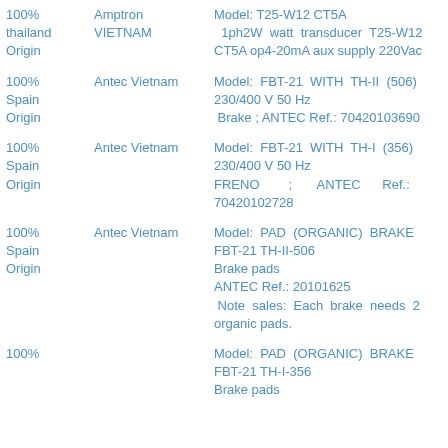| Origin | Supplier | Description |
| --- | --- | --- |
| 100% thailand Origin | Amptron VIETNAM | Model: T25-W12 CT5A
1ph2W watt transducer T25-W12 CT5A op4-20mA aux supply 220Vac |
| 100% Spain Origin | Antec Vietnam | Model: FBT-21 WITH TH-II (506) 230/400 V 50 Hz
Brake ; ANTEC Ref.: 70420103690 |
| 100% Spain Origin | Antec Vietnam | Model: FBT-21 WITH TH-I (356) 230/400 V 50 Hz
FRENO ; ANTEC Ref.: 70420102728 |
| 100% Spain Origin | Antec Vietnam | Model: PAD (ORGANIC) BRAKE FBT-21 TH-II-506
Brake pads
ANTEC Ref.: 20101625
Note sales: Each brake needs 2 organic pads. |
| 100% |  | Model: PAD (ORGANIC) BRAKE FBT-21 TH-I-356
Brake pads |